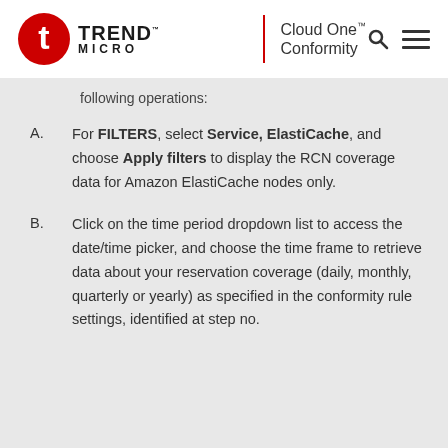Trend Micro | Cloud One™ Conformity
following operations:
For FILTERS, select Service, ElastiCache, and choose Apply filters to display the RCN coverage data for Amazon ElastiCache nodes only.
Click on the time period dropdown list to access the date/time picker, and choose the time frame to retrieve data about your reservation coverage (daily, monthly, quarterly or yearly) as specified in the conformity rule settings, identified at step no.